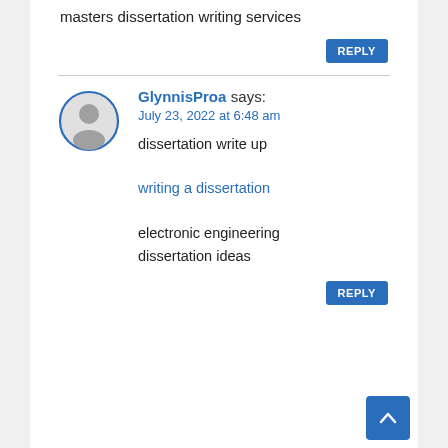masters dissertation writing services
REPLY
GlynnisProa says:
July 23, 2022 at 6:48 am
dissertation write up
writing a dissertation
electronic engineering dissertation ideas
REPLY